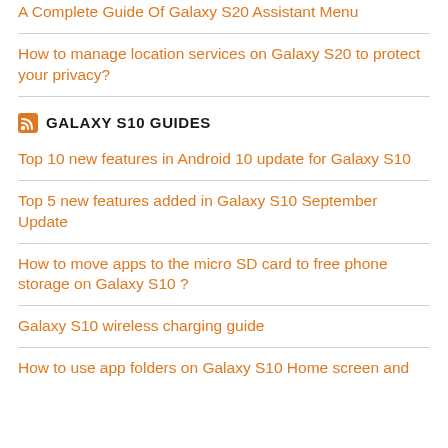A Complete Guide Of Galaxy S20 Assistant Menu
How to manage location services on Galaxy S20 to protect your privacy?
GALAXY S10 GUIDES
Top 10 new features in Android 10 update for Galaxy S10
Top 5 new features added in Galaxy S10 September Update
How to move apps to the micro SD card to free phone storage on Galaxy S10 ?
Galaxy S10 wireless charging guide
How to use app folders on Galaxy S10 Home screen and